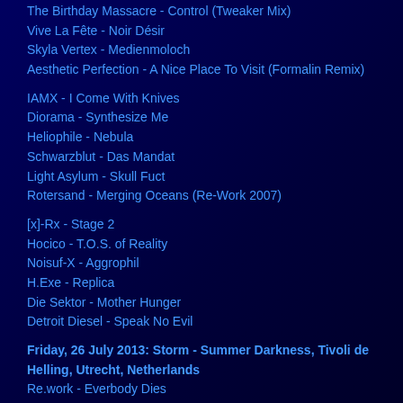The Birthday Massacre - Control (Tweaker Mix)
Vive La Fête - Noir Désir
Skyla Vertex - Medienmoloch
Aesthetic Perfection - A Nice Place To Visit (Formalin Remix)
IAMX - I Come With Knives
Diorama - Synthesize Me
Heliophile - Nebula
Schwarzblut - Das Mandat
Light Asylum - Skull Fuct
Rotersand - Merging Oceans (Re-Work 2007)
[x]-Rx - Stage 2
Hocico - T.O.S. of Reality
Noisuf-X - Aggrophil
H.Exe - Replica
Die Sektor - Mother Hunger
Detroit Diesel - Speak No Evil
Friday, 26 July 2013: Storm - Summer Darkness, Tivoli de Helling, Utrecht, Netherlands
Re.work - Everbody Dies
Covenant - Last Dance